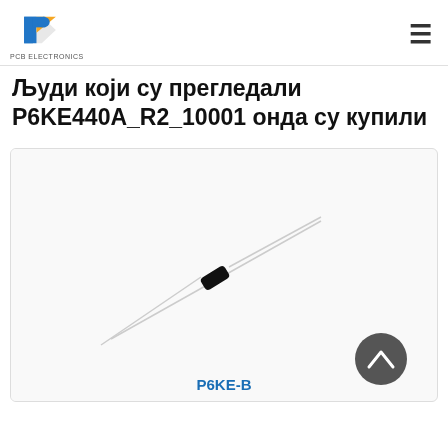PCB Electronics
Људи који су прегледали P6KE440A_R2_10001 онда су купили
[Figure (photo): Photo of a P6KE-B transient voltage suppressor diode component with long metal leads against a white background, shown at a diagonal angle. A dark gray circular scroll-to-top button appears at the bottom right of the card.]
P6KE-B